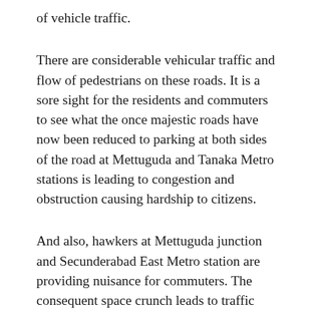of vehicle traffic.
There are considerable vehicular traffic and flow of pedestrians on these roads. It is a sore sight for the residents and commuters to see what the once majestic roads have now been reduced to parking at both sides of the road at Mettuguda and Tanaka Metro stations is leading to congestion and obstruction causing hardship to citizens.
And also, hawkers at Mettuguda junction and Secunderabad East Metro station are providing nuisance for commuters. The consequent space crunch leads to traffic jams, freak accidents as pedestrians have no choice but to walk on